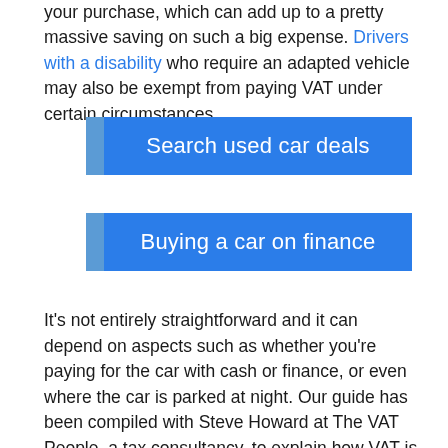your purchase, which can add up to a pretty massive saving on such a big expense. Drivers with a disability who require an adapted vehicle may also be exempt from paying VAT under certain circumstances.
[Figure (other): Blue button with text: Search used car deals]
Buying a car on finance
It's not entirely straightforward and it can depend on aspects such as whether you're paying for the car with cash or finance, or even where the car is parked at night. Our guide has been compiled with Steve Howard at The VAT People, a tax consultancy, to explain how VAT is charged on cars, when it's paid and how you can